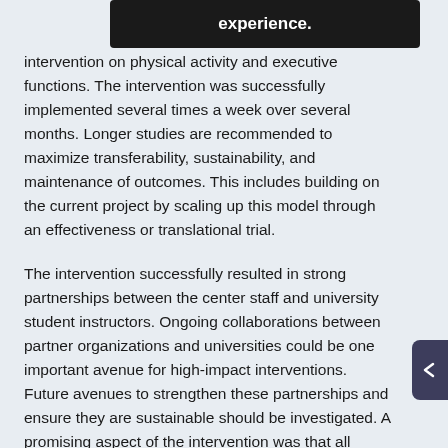[Figure (other): Black tooltip/overlay bar with white text reading 'experience.']
intervention on physical activity and executive functions. The intervention was successfully implemented several times a week over several months. Longer studies are recommended to maximize transferability, sustainability, and maintenance of outcomes. This includes building on the current project by scaling up this model through an effectiveness or translational trial.
The intervention successfully resulted in strong partnerships between the center staff and university student instructors. Ongoing collaborations between partner organizations and universities could be one important avenue for high-impact interventions. Future avenues to strengthen these partnerships and ensure they are sustainable should be investigated. A promising aspect of the intervention was that all university students